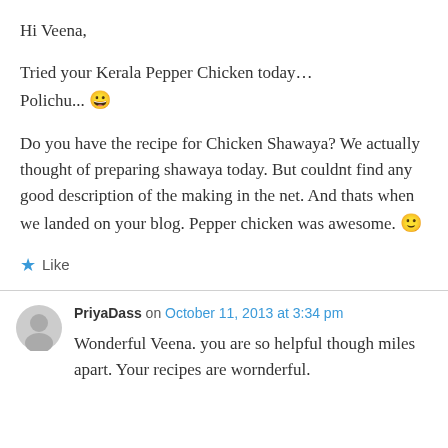Hi Veena,
Tried your Kerala Pepper Chicken today… Polichu... 😀
Do you have the recipe for Chicken Shawaya? We actually thought of preparing shawaya today. But couldnt find any good description of the making in the net. And thats when we landed on your blog. Pepper chicken was awesome. 🙂
★ Like
PriyaDass on October 11, 2013 at 3:34 pm
Wonderful Veena. you are so helpful though miles apart. Your recipes are wornderful.